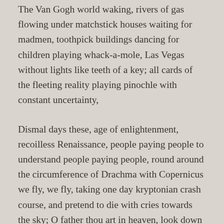The Van Gogh world waking, rivers of gas flowing under matchstick houses waiting for madmen, toothpick buildings dancing for children playing whack-a-mole, Las Vegas without lights like teeth of a key; all cards of the fleeting reality playing pinochle with constant uncertainty,
Dismal days these, age of enlightenment, recoilless Renaissance, people paying people to understand people paying people, round around the circumference of Drachma with Copernicus we fly, we fly, taking one day kryptonian crash course, and pretend to die with cries towards the sky; O father thou art in heaven, look down now and weep, for seven days you worked, and on the eighth it all went to dust, you knew it and yet you left it so, now weeds gather in your garden, and over Lucifer stomps...